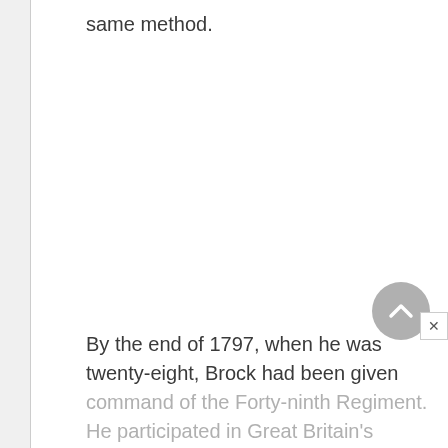same method.
By the end of 1797, when he was twenty-eight, Brock had been given command of the Forty-ninth Regiment. He participated in Great Britain's